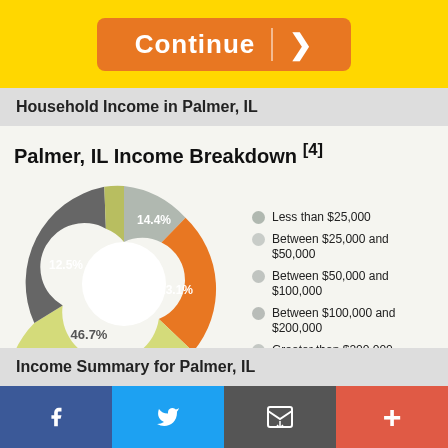[Figure (other): Orange Continue button with arrow on yellow background]
Household Income in Palmer, IL
Palmer, IL Income Breakdown [4]
[Figure (donut-chart): Palmer, IL Income Breakdown]
Income Summary for Palmer, IL
f  Twitter  email  +